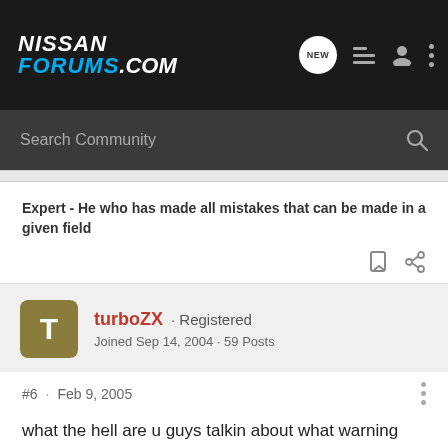NISSAN FORUMS.COM
Expert - He who has made all mistakes that can be made in a given field
turboZX · Registered
Joined Sep 14, 2004 · 59 Posts
#6 · Feb 9, 2005
what the hell are u guys talkin about what warning voice??????? lol